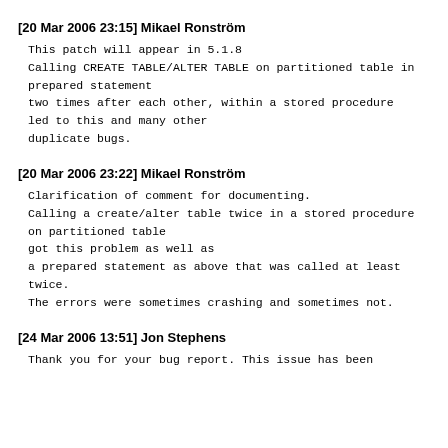[20 Mar 2006 23:15] Mikael Ronström
This patch will appear in 5.1.8
Calling CREATE TABLE/ALTER TABLE on partitioned table in
prepared statement
two times after each other, within a stored procedure
led to this and many other
duplicate bugs.
[20 Mar 2006 23:22] Mikael Ronström
Clarification of comment for documenting.
Calling a create/alter table twice in a stored procedure
on partitioned table
got this problem as well as
a prepared statement as above that was called at least
twice.
The errors were sometimes crashing and sometimes not.
[24 Mar 2006 13:51] Jon Stephens
Thank you for your bug report. This issue has been